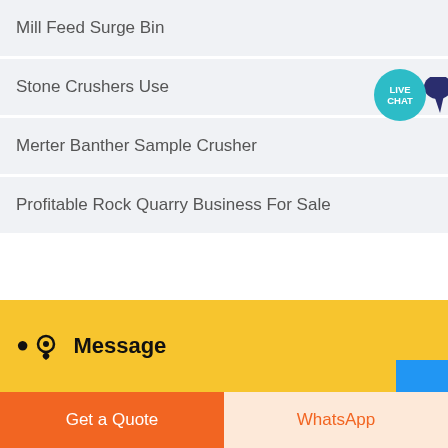Mill Feed Surge Bin
Stone Crushers Use
Merter Banther Sample Crusher
Profitable Rock Quarry Business For Sale
Message
Get a Quote
WhatsApp